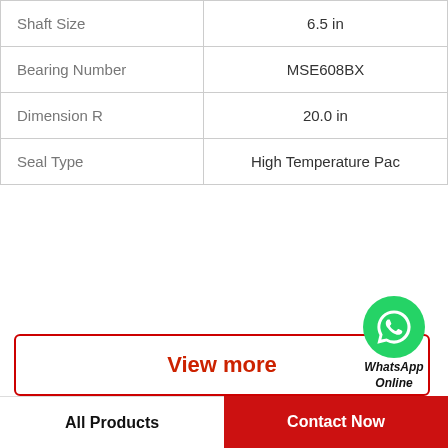| Property | Value |
| --- | --- |
| Shaft Size | 6.5 in |
| Bearing Number | MSE608BX |
| Dimension R | 20.0 in |
| Seal Type | High Temperature Pac |
View more
[Figure (logo): WhatsApp contact button with green phone icon and 'WhatsApp Online' label]
Company Profile
TRANSMISSIONS   BEARINGS EUROPE
Phone partial (truncated)
All Products   Contact Now